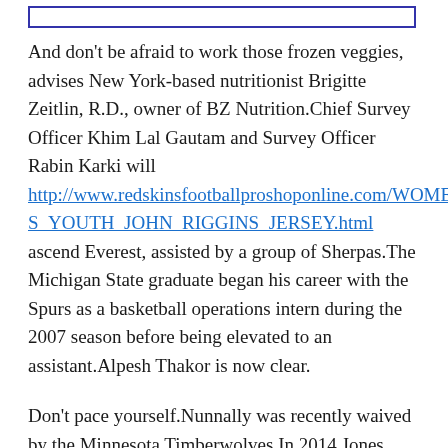[Figure (other): Empty rectangle with blue border at top of page]
And don't be afraid to work those frozen veggies, advises New York-based nutritionist Brigitte Zeitlin, R.D., owner of BZ Nutrition.Chief Survey Officer Khim Lal Gautam and Survey Officer Rabin Karki will http://www.redskinsfootballproshoponline.com/WOMENS_YOUTH_JOHN_RIGGINS_JERSEY.html ascend Everest, assisted by a group of Sherpas.The Michigan State graduate began his career with the Spurs as a basketball operations intern during the 2007 season before being elevated to an assistant.Alpesh Thakor is now clear.
Don't pace yourself.Nunnally was recently waived by the Minnesota Timberwolves.In 2014 Jones helped the launch of Fans United, a premier licensed sports